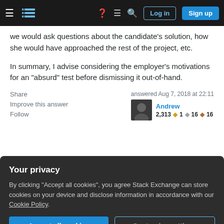Stack Exchange navigation bar with Log in and Sign up buttons
we would ask questions about the candidate's solution, how she would have approached the rest of the project, etc.
In summary, I advise considering the employer's motivations for an "absurd" test before dismissing it out-of-hand.
Share | Improve this answer | Follow | answered Aug 7, 2018 at 22:11 | Andrew | 2,313 ◆1 ◇16 ◆16
Your privacy
By clicking "Accept all cookies", you agree Stack Exchange can store cookies on your device and disclose information in accordance with our Cookie Policy.
reputation requirement helps protect this question from spam